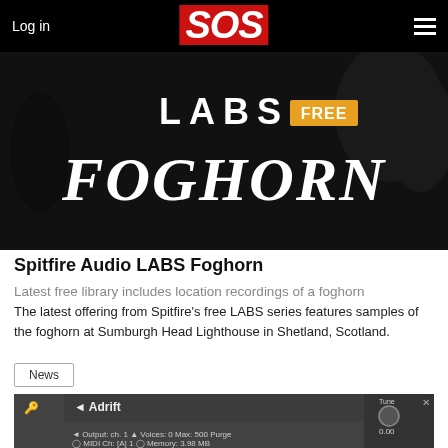Log in | SOS | menu
[Figure (photo): Black and white image with text 'LABS FREE FOGHORN' on dark background]
Spitfire Audio LABS Foghorn
Latest free library includes location recordings of a foghorn
The latest offering from Spitfire's free LABS series features samples of the foghorn at Sumburgh Head Lighthouse in Shetland, Scotland.
News
[Figure (screenshot): Screenshot of a music plugin interface showing Adrift patch with parameters: Output ch.1, MIDI Ch. [A] 1, Voices 0, Max 500, Memory 3.98 MB, and ONDINE label]